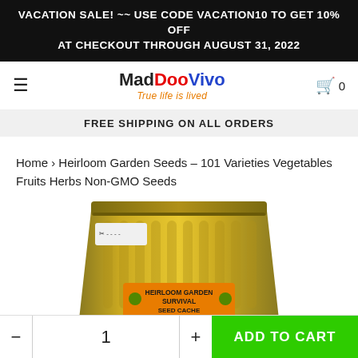VACATION SALE! ~~ USE CODE VACATION10 TO GET 10% OFF AT CHECKOUT THROUGH AUGUST 31, 2022
[Figure (logo): MadDooVivo logo with tagline 'True life is lived']
FREE SHIPPING ON ALL ORDERS
Home › Heirloom Garden Seeds – 101 Varieties Vegetables Fruits Herbs Non-GMO Seeds
[Figure (photo): Gold foil resealable bag labeled 'HEIRLOOM GARDEN SURVIVAL SEED CACHE']
- 1 + ADD TO CART